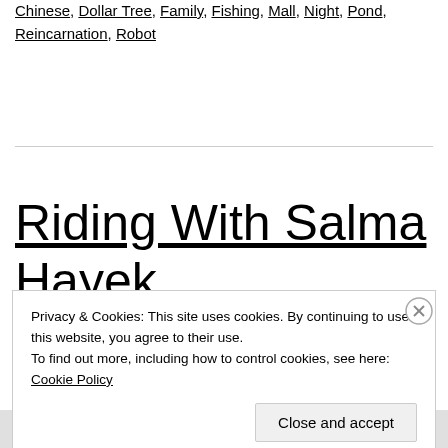Chinese, Dollar Tree, Family, Fishing, Mall, Night, Pond, Reincarnation, Robot
Riding With Salma Hayek
Privacy & Cookies: This site uses cookies. By continuing to use this website, you agree to their use.
To find out more, including how to control cookies, see here: Cookie Policy
[Close and accept]